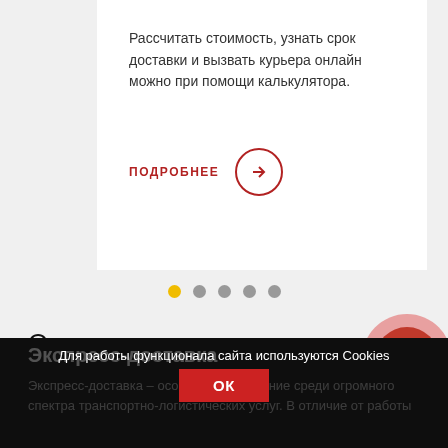Рассчитать стоимость, узнать срок доставки и вызвать курьера онлайн можно при помощи калькулятора.
ПОДРОБНЕЕ →
[Figure (screenshot): Carousel navigation dots: one active (yellow), four inactive (grey)]
О компании
[Figure (other): Red circle button with ruble currency symbol (₽)]
Экспресс-доставка
Для работы функционала сайта используются Cookies
OK
Экспресс-доставка – особое нап … ние среди огромного спектра транспортно-логистических услуг. В отличие от работы